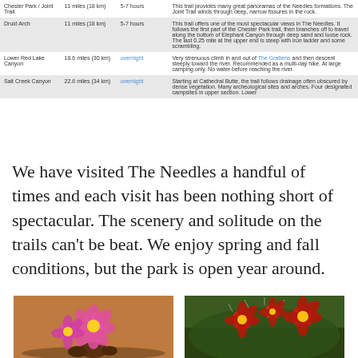| Trail | Distance | Time | Description |
| --- | --- | --- | --- |
| Chester Park / Joint Trail | 11 miles (18 km) | 5-7 hours | This trail provides many great panoramas of the Needles formations. The Joint Trail winds through deep, narrow fissures in the rock. |
| Druid Arch | 11 miles (18 km) | 5-7 hours | This trail offers one of the most spectacular views in The Needles. It follows the first part of the Chester Park trail, then branches off to travel along the bottom of Elephant Canyon through deep sand and loose rock. The last 0.25 mile at the upper end is steep with iron ladder and some scrambling. |
| Lower Red Lake Canyon | 18.6 miles (30 km) | overnight | Very strenuous climb in and out of The Grabens and then descent steeply toward the river. Recommended as a multi-day hike. At large camping only. No water before reaching the river. |
| Salt Creek Canyon | 22.6 miles (34 km) | overnight | Starting at Cathedral Butte, the trail follows drainage often obscured by dense vegetation. Many archeological sites and arches. Four designated campsites in upper section. Lower |
We have visited The Needles a handful of times and each visit has been nothing short of spectacular. The scenery and solitude on the trails can't be beat. We enjoy spring and fall conditions, but the park is open year around.
[Figure (photo): Pink cactus flowers blooming on a cactus in a desert setting]
[Figure (photo): Red cactus flowers blooming on a spiny cactus in a desert setting]